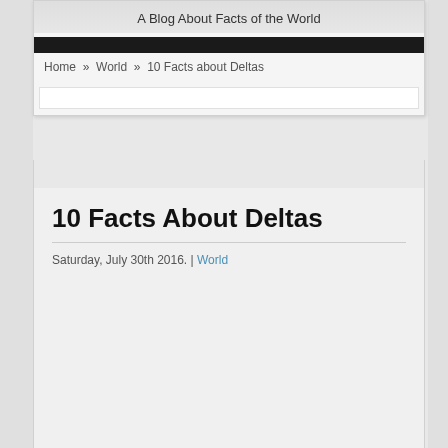A Blog About Facts of the World
Home » World » 10 Facts about Deltas
10 Facts About Deltas
Saturday, July 30th 2016. | World